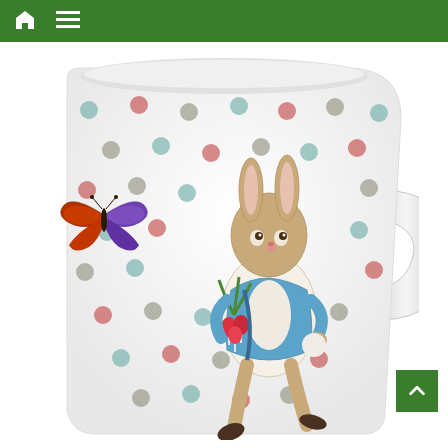[Figure (screenshot): Green navigation bar with white home icon and hamburger menu icon]
[Figure (photo): Peter Rabbit ceramic mug with colorful polka dot pattern. Features an illustration of Peter Rabbit running and carrying radishes in a blue jacket, with a butterfly on the left side. White background with multicolored dots in teal, red, grey, and other colors. Mug has a handle on the right side.]